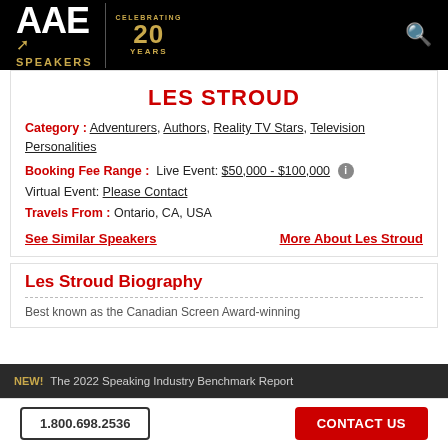AAE SPEAKERS — Celebrating 20 Years
LES STROUD
Category: Adventurers, Authors, Reality TV Stars, Television Personalities
Booking Fee Range: Live Event: $50,000 - $100,000  Virtual Event: Please Contact
Travels From: Ontario, CA, USA
See Similar Speakers    More About Les Stroud
Les Stroud Biography
Best known as the Canadian Screen Award-winning
NEW! The 2022 Speaking Industry Benchmark Report   1.800.698.2536   CONTACT US